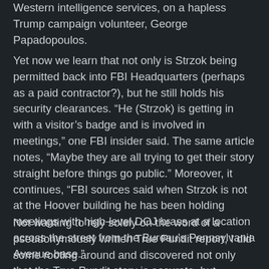Western intelligence services, on a hapless Trump campaign volunteer, George Papadopoulos.
Yet now we learn that not only is Strzok being permitted back into FBI Headquarters (perhaps as a paid contractor?), but he still holds his security clearances. “He (Strzok) is getting in with a visitor’s badge and is involved in meetings,” one FBI insider said. The same article notes, “Maybe they are all trying to get their story straight before things go public.” Moreover, it continues, “FBI sources said when Strzok is not at the Hoover building he has been holding meetings with high-level DOJ brass at a location across the street from the Bureau's Pennsylvania Avenue base.”
Not wanting to rely solely on the word of a pseudonymously written True Pundit report, I did some rooting around and discovered not only that the True Pundit story is accurate, but obtained some